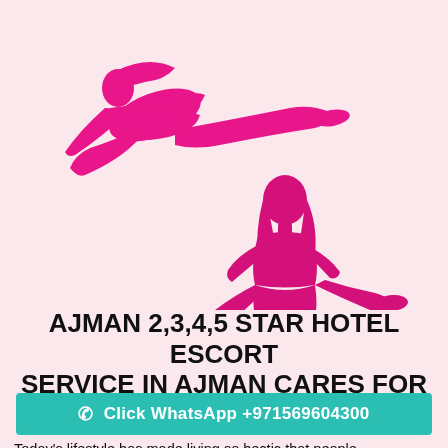[Figure (illustration): Pink silhouette illustrations of two female figures on a light pink background. Top figure is reclining; bottom figure is seated.]
AJMAN 2,3,4,5 STAR HOTEL ESCORT SERVICE IN AJMAN CARES FOR CLIENTELE
Click WhatsApp +971569604300
Today's lifestyle has made living so hectic that people,